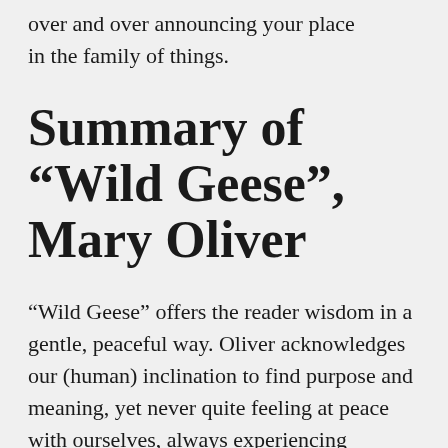over and over announcing your place in the family of things.
Summary of “Wild Geese”, Mary Oliver
“Wild Geese” offers the reader wisdom in a gentle, peaceful way. Oliver acknowledges our (human) inclination to find purpose and meaning, yet never quite feeling at peace with ourselves, always experiencing feelings of displacement. She tells the reader that when you feel despair or feelings of being not